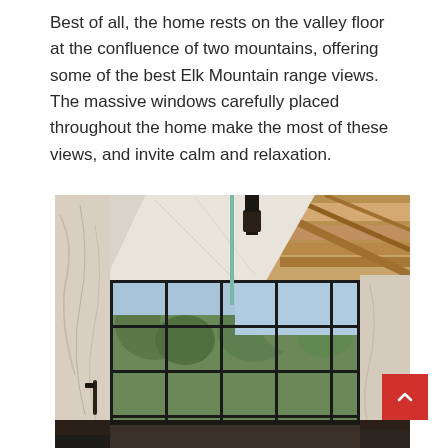Best of all, the home rests on the valley floor at the confluence of two mountains, offering some of the best Elk Mountain range views. The massive windows carefully placed throughout the home make the most of these views, and invite calm and relaxation.
[Figure (photo): Interior photo of a luxury home showing massive floor-to-ceiling windows with black metal frames, marble walls, a small dark pendant light, and wooden beam ceiling. Green trees and blue sky visible through the windows.]